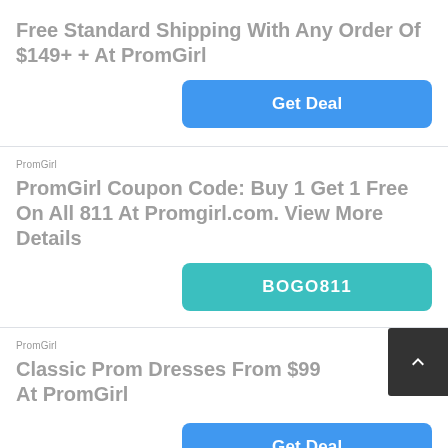Free Standard Shipping With Any Order Of $149+ + At PromGirl
Get Deal
PromGirl
PromGirl Coupon Code: Buy 1 Get 1 Free On All 811 At Promgirl.com. View More Details
BOGO811
PromGirl
Classic Prom Dresses From $99 At PromGirl
Get Deal